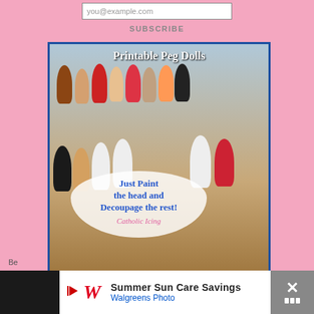you@example.com
SUBSCRIBE
[Figure (photo): Printable Peg Dolls photo showing multiple hand-painted and decoupaged wooden peg dolls representing various Catholic saints/figures arranged on wooden steps. Text overlays read 'Printable Peg Dolls', 'Just Paint the head and Decoupage the rest!', and 'Catholic Icing'.]
Be
[Figure (photo): Walgreens advertisement banner: 'Summer Sun Care Savings - Walgreens Photo' with Walgreens cursive W logo, blue arrow icon, and close button.]